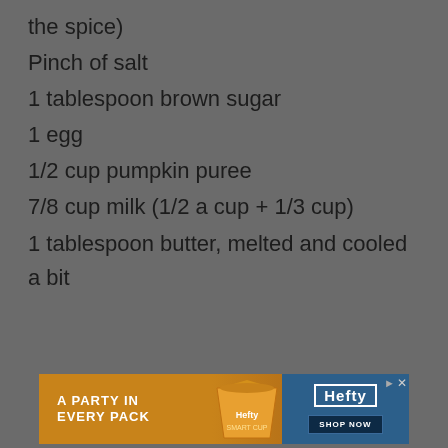the spice)
Pinch of salt
1 tablespoon brown sugar
1 egg
1/2 cup pumpkin puree
7/8 cup milk (1/2 a cup + 1/3 cup)
1 tablespoon butter, melted and cooled a bit
[Figure (other): Advertisement banner for Hefty brand: orange background with text 'A PARTY IN EVERY PACK', Hefty cup image in center, blue section on right with Hefty logo and 'SHOP NOW' button]